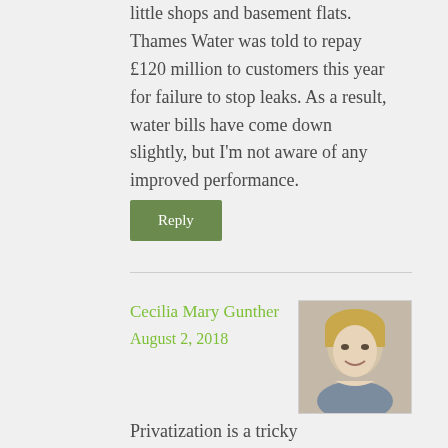little shops and basement flats. Thames Water was told to repay £120 million to customers this year for failure to stop leaks. As a result, water bills have come down slightly, but I'm not aware of any improved performance.
Reply
Cecilia Mary Gunther
August 2, 2018
[Figure (photo): Headshot photo of Cecilia Mary Gunther, a woman with short blonde hair, smiling]
Privatization is a tricky